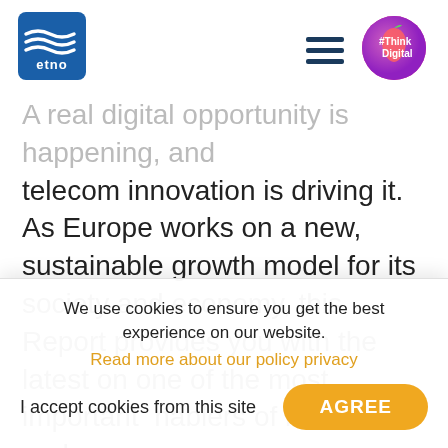[Figure (logo): ETNO logo - blue square with wave lines and 'etno' text]
[Figure (logo): #ThinkDigital badge - circular pink/purple badge with apple icon]
A real digital opportunity is happening, and telecom innovation is driving it. As Europe works on a new, sustainable growth model for its society and economy, this Report provides you with the latest on one of the most important nablers of innovation and
We use cookies to ensure you get the best experience on our website.
Read more about our policy privacy
I accept cookies from this site
AGREE